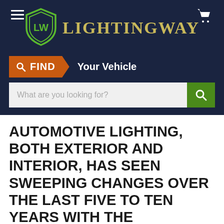LightingWay
FIND Your Vehicle
What are you looking for?
AUTOMOTIVE LIGHTING, BOTH EXTERIOR AND INTERIOR, HAS SEEN SWEEPING CHANGES OVER THE LAST FIVE TO TEN YEARS WITH THE INTRODUCTION OF LED AND OLED TECHNOLOGIES. THE FLEXIBILITY OF